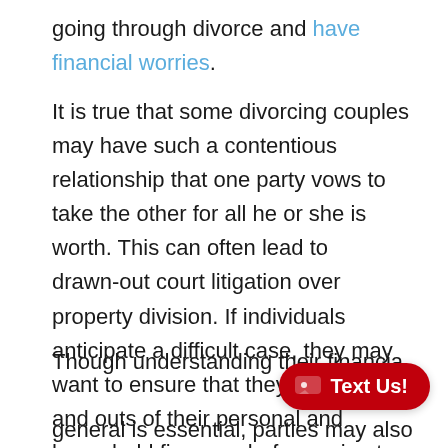going through divorce and have financial worries.
It is true that some divorcing couples may have such a contentious relationship that one party vows to take the other for all he or she is worth. This can often lead to drawn-out court litigation over property division. If individuals anticipate a difficult case, they may want to ensure that they know the ins and outs of their personal and household finances before going to court.
Though understanding their financial situation in general is essential, parties may also want to